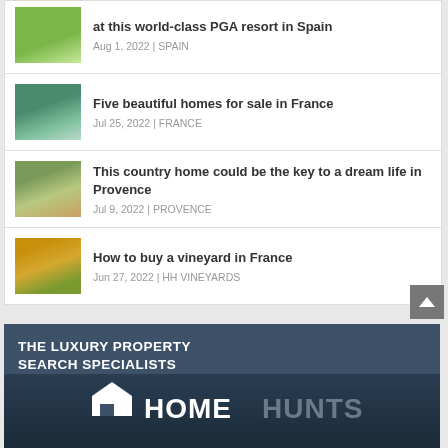at this world-class PGA resort in Spain | Aug 1, 2022 | SPAIN
Five beautiful homes for sale in France | Jul 25, 2022 | FRANCE
This country home could be the key to a dream life in Provence | Jul 9, 2022 | PROVENCE
How to buy a vineyard in France | Jun 27, 2022 | HH VINEYARDS
[Figure (logo): Home Hunts logo with house icon and brand name, on dark blue background]
THE LUXURY PROPERTY SEARCH SPECIALISTS